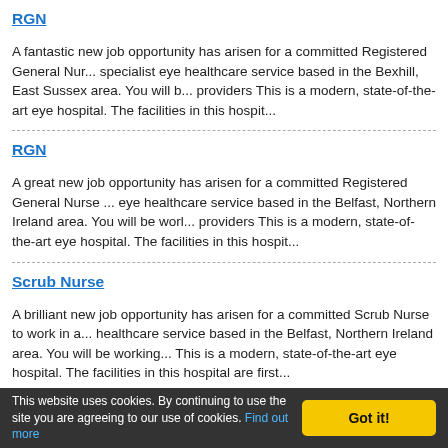RGN
A fantastic new job opportunity has arisen for a committed Registered General Nur... specialist eye healthcare service based in the Bexhill, East Sussex area. You will b... providers This is a modern, state-of-the-art eye hospital. The facilities in this hospit...
RGN
A great new job opportunity has arisen for a committed Registered General Nurse ... eye healthcare service based in the Belfast, Northern Ireland area. You will be wor... providers This is a modern, state-of-the-art eye hospital. The facilities in this hospit...
Scrub Nurse
A brilliant new job opportunity has arisen for a committed Scrub Nurse to work in a... healthcare service based in the Belfast, Northern Ireland area. You will be working... This is a modern, state-of-the-art eye hospital. The facilities in this hospital are first...
RGN
A fantastic new job opportunity has arisen for a committed Registered General Nur... specialist eye healthcare service based in Oxford/Witney area. You will be working... This is a modern, state-of-the-art eye hospital. The facilities in this hospital are first...
This website uses cookies. By continuing to use the site you are agreeing to our use of cookies. Find out more  Got it!